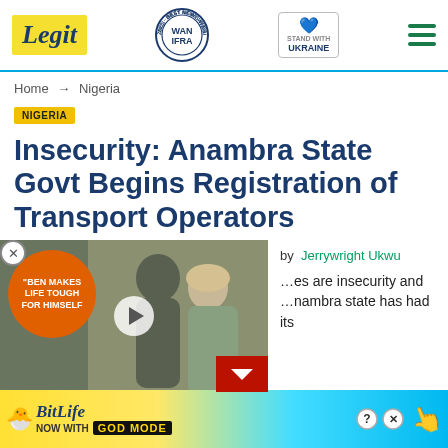Legit | WAN IFRA 2021 Best News Website in Africa | Stand With Ukraine
Home → Nigeria
NIGERIA
Insecurity: Anambra State Govt Begins Registration of Transport Operators
[Figure (screenshot): Video thumbnail showing two people with orange promotional circle reading BEN MAKES LIFE TOUGH FOR HIMSELF, with play button overlay and red chevron]
by Jerrywright Ukwu
…es are insecurity and …nambra state has had its
[Figure (screenshot): BitLife advertisement banner: NOW WITH GOD MODE, with help and close buttons and finger pointing illustration]